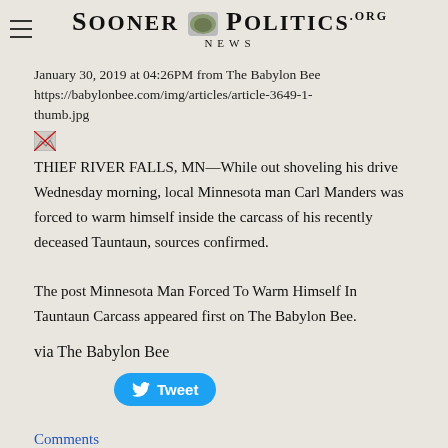SOONER POLITICS NEWS .ORG
January 30, 2019 at 04:26PM from The Babylon Bee https://babylonbee.com/img/articles/article-3649-1-thumb.jpg
[Figure (photo): Broken image placeholder thumbnail]
THIEF RIVER FALLS, MN—While out shoveling his drive Wednesday morning, local Minnesota man Carl Manders was forced to warm himself inside the carcass of his recently deceased Tauntaun, sources confirmed.

The post Minnesota Man Forced To Warm Himself In Tauntaun Carcass appeared first on The Babylon Bee.
via The Babylon Bee
[Figure (other): Twitter Tweet button]
Comments